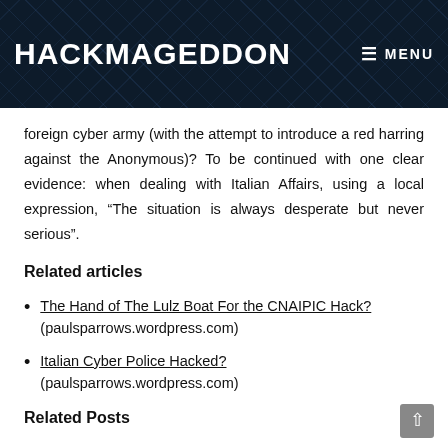HACKMAGEDDON  ≡  MENU
foreign cyber army (with the attempt to introduce a red harring against the Anonymous)? To be continued with one clear evidence: when dealing with Italian Affairs, using a local expression, “The situation is always desperate but never serious”.
Related articles
The Hand of The Lulz Boat For the CNAIPIC Hack? (paulsparrows.wordpress.com)
Italian Cyber Police Hacked? (paulsparrows.wordpress.com)
Related Posts